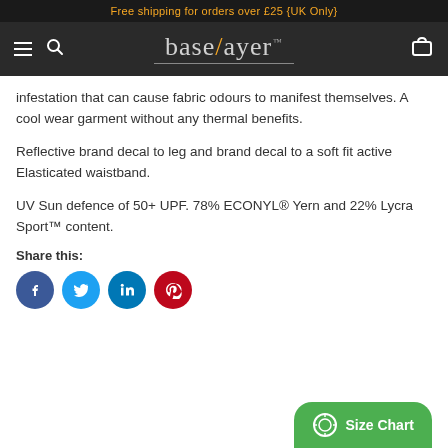Free shipping for orders over £25 {UK Only}
[Figure (logo): baselayer brand logo with orange slash, on dark navigation bar with hamburger menu, search icon, and cart icon]
infestation that can cause fabric odours to manifest themselves. A cool wear garment without any thermal benefits.
Reflective brand decal to leg and brand decal to a soft fit active Elasticated waistband.
UV Sun defence of 50+ UPF.  78% ECONYL® Yern and 22% Lycra Sport™ content.
Share this:
[Figure (infographic): Four social media share buttons: Facebook (blue circle with f), Twitter (light blue circle with bird), LinkedIn (blue circle with in), Pinterest (red circle with P)]